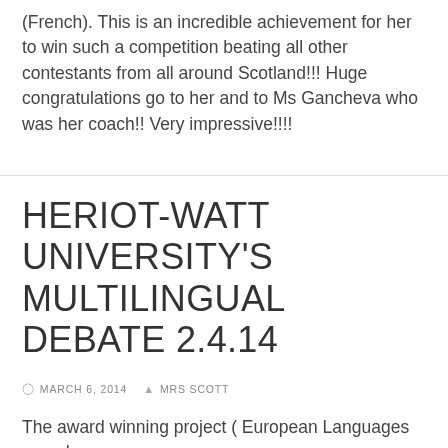(French).  This is an incredible achievement for her to win such a competition beating all other contestants from all around Scotland!!!  Huge congratulations go to her and to Ms Gancheva who was her coach!!  Very impressive!!!!
HERIOT-WATT UNIVERSITY'S MULTILINGUAL DEBATE 2.4.14
MARCH 6, 2014   MRS SCOTT
The award winning project ( European Languages award